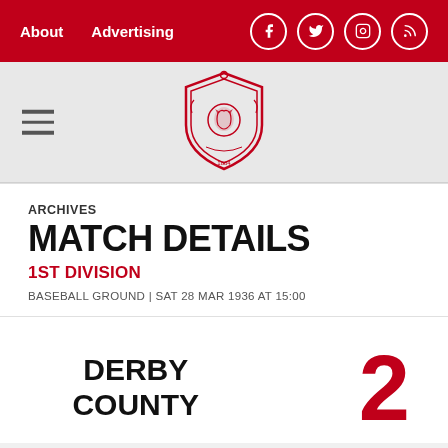About  Advertising
[Figure (logo): Football club crest/badge in red and white, centered in the header area]
ARCHIVES
MATCH DETAILS
1ST DIVISION
BASEBALL GROUND | SAT 28 MAR 1936 AT 15:00
DERBY COUNTY  2